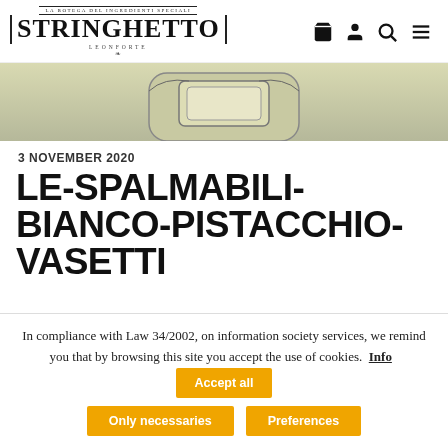[Figure (logo): Stringhetto brand logo with decorative borders and ornamental text]
[Figure (photo): Partial product image showing a green/olive colored jar or container on white-to-gray gradient background]
3 NOVEMBER 2020
LE-SPALMABILI-BIANCO-PISTACCHIO-VASETTI
In compliance with Law 34/2002, on information society services, we remind you that by browsing this site you accept the use of cookies.
Info
Accept all
Only necessaries
Preferences